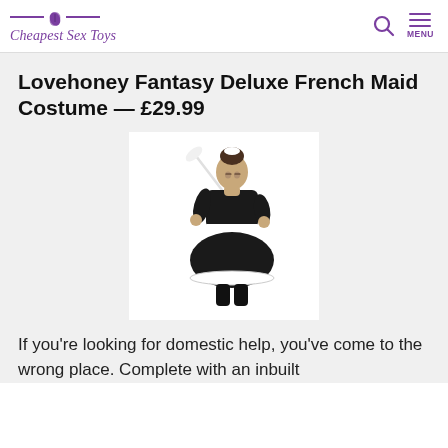Cheapest Sex Toys
Lovehoney Fantasy Deluxe French Maid Costume — £29.99
[Figure (photo): Woman wearing a black French Maid costume with white trim and headpiece, holding a feather duster, posing against a white background.]
If you're looking for domestic help, you've come to the wrong place. Complete with an inbuilt